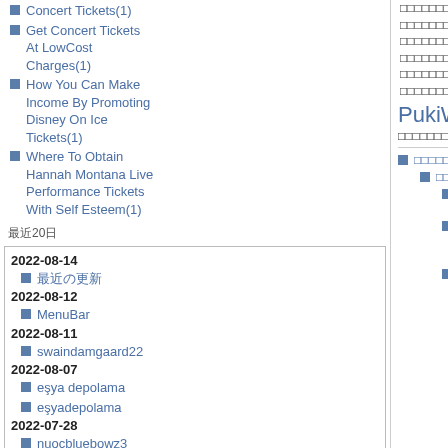Concert Tickets(1)
Get Concert Tickets At LowCost Charges(1)
How You Can Make Income By Promoting Disney On Ice Tickets(1)
Where To Obtain Hannah Montana Live Performance Tickets With Self Esteem(1)
最近20日
2022-08-14
最近の更新
2022-08-12
MenuBar
2022-08-11
swaindamgaard22
2022-08-07
eşya depolama
eşyadepolama
2022-07-28
nuocbluebowz3
2022-07-07
mccoycruz6
□□□□□□□□□□□□□□□□□□□□□□□□□□□□□□□□□□□□□□□□□□□□□□□□□□□□□□□□□□□□□□□□□□□□□□□□□□□□□□□□□□□□□
PukiWiki/1.4/Man
□□□□□□□□□□
□□□□□□□□□□
□□□□□□
□
□
□
□
□
□
□
□
□